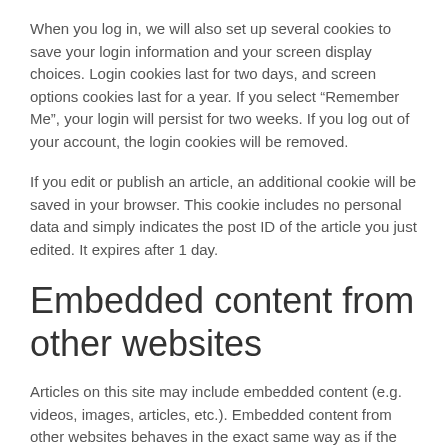When you log in, we will also set up several cookies to save your login information and your screen display choices. Login cookies last for two days, and screen options cookies last for a year. If you select “Remember Me”, your login will persist for two weeks. If you log out of your account, the login cookies will be removed.
If you edit or publish an article, an additional cookie will be saved in your browser. This cookie includes no personal data and simply indicates the post ID of the article you just edited. It expires after 1 day.
Embedded content from other websites
Articles on this site may include embedded content (e.g. videos, images, articles, etc.). Embedded content from other websites behaves in the exact same way as if the visitor has visited the other website.